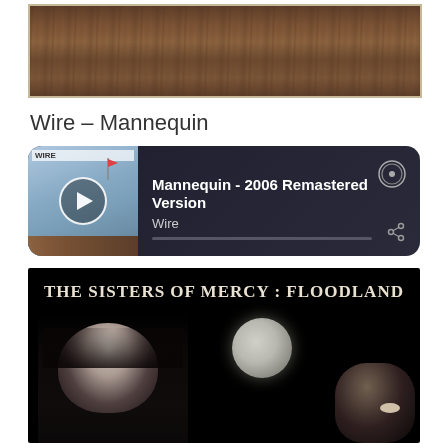[Figure (photo): Wood texture/surface photo, dark brown grain, partial view at top of page]
Wire – Mannequin
[Figure (screenshot): Spotify embedded player widget showing 'Mannequin - 2006 Remastered Version' by Wire, with album art showing a sky with a flag, play button, Spotify logo, progress bar, and share icon]
[Figure (photo): Album cover for 'The Sisters of Mercy: Floodland' showing the title text at top in serif font, a full moon, and dark shadowy figures of people against a black background]